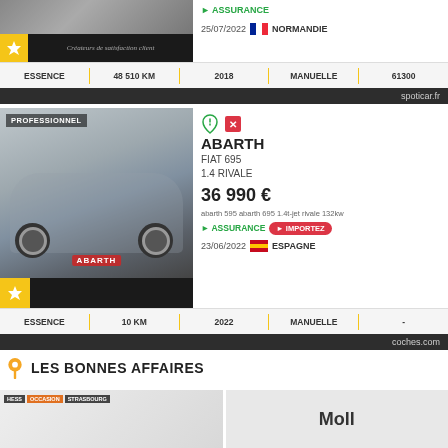[Figure (photo): Partial car listing card top - vehicle image with star badge and black banner 'Créateurs de satisfaction client']
> ASSURANCE
25/07/2022  🇫🇷 NORMANDIE
| ESSENCE | 48 510 KM | 2018 | MANUELLE | 61300 |
| --- | --- | --- | --- | --- |
spoticar.fr
[Figure (photo): Abarth Fiat 695 1.4 Rivale silver car listing photo with PROFESSIONNEL badge]
ABARTH
FIAT 695
1.4 RIVALE
36 990 €
abarth 595 abarth 695 1.4t-jet rivale 132kw
> ASSURANCE  > IMPORTEZ
23/06/2022  🇪🇸 ESPAGNE
| ESSENCE | 10 KM | 2022 | MANUELLE | - |
| --- | --- | --- | --- | --- |
coches.com
LES BONNES AFFAIRES
[Figure (photo): Bottom preview cards - left card with HESS OCCASION STRASBOURG badges, right card with 'Moll' text]